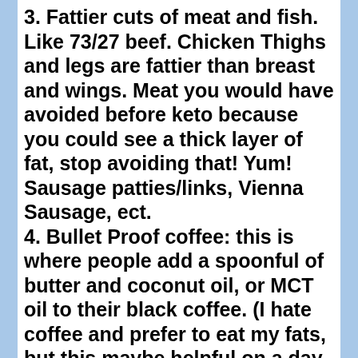3. Fattier cuts of meat and fish. Like 73/27 beef. Chicken Thighs and legs are fattier than breast and wings. Meat you would have avoided before keto because you could see a thick layer of fat, stop avoiding that! Yum! Sausage patties/links, Vienna Sausage, ect.
4. Bullet Proof coffee: this is where people add a spoonful of butter and coconut oil, or MCT oil to their black coffee. (I hate coffee and prefer to eat my fats, but this maybe helpful on a day when you just couldn't eat enough fat). For recipes check youtube for bullet proof coffee!
5. Fat Bombs! This is where people make sugar free chocolates adding an unsweetened chocolate bar.